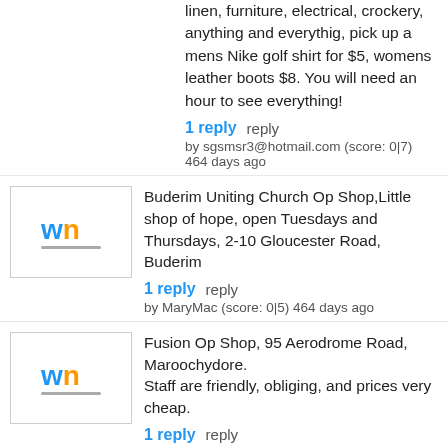linen, furniture, electrical, crockery, anything and everythig, pick up a mens Nike golf shirt for $5, womens leather boots $8. You will need an hour to see everything!
1 reply   reply
by sgsmsr3@hotmail.com (score: 0|7) 464 days ago
Buderim Uniting Church Op Shop,Little shop of hope, open Tuesdays and Thursdays, 2-10 Gloucester Road, Buderim
1 reply   reply
by MaryMac (score: 0|5) 464 days ago
Fusion Op Shop, 95 Aerodrome Road, Maroochydore.
Staff are friendly, obliging, and prices very cheap.
1 reply   reply
by j.a.r (score: 0|5) 812 days ago
[Figure (photo): WN logo avatar next to a shop interior photo showing merchandise on shelves]